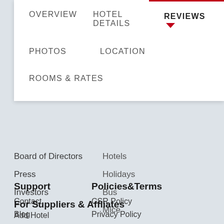[Figure (screenshot): Navigation dropdown menu for a hotel booking/review website showing tabs: OVERVIEW, HOTEL DETAILS, PHOTOS, LOCATION, REVIEWS (active with red underline and dropdown arrow), ROOMS & RATES]
Board of Directors
Hotels
Press
Holidays
Investors
Bus
Mice
Support
Policies&Terms
Contact
CSR Policy
Blog
Privacy Policy
Terms of Use
Bug Bounty
For Suppliers & Affliates
Add Hotel